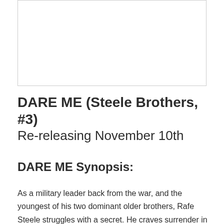[Figure (other): Blank white image placeholder with light gray border]
DARE ME (Steele Brothers, #3)
Re-releasing November 10th
DARE ME Synopsis:
As a military leader back from the war, and the youngest of his two dominant older brothers, Rafe Steele struggles with a secret. He craves surrender in the